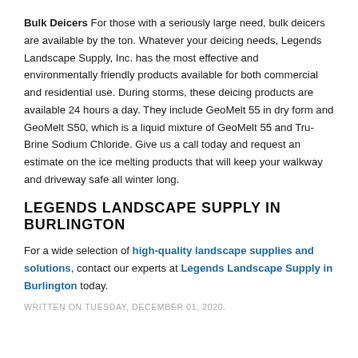Bulk Deicers For those with a seriously large need, bulk deicers are available by the ton. Whatever your deicing needs, Legends Landscape Supply, Inc. has the most effective and environmentally friendly products available for both commercial and residential use. During storms, these deicing products are available 24 hours a day. They include GeoMelt 55 in dry form and GeoMelt S50, which is a liquid mixture of GeoMelt 55 and Tru-Brine Sodium Chloride. Give us a call today and request an estimate on the ice melting products that will keep your walkway and driveway safe all winter long.
LEGENDS LANDSCAPE SUPPLY IN BURLINGTON
For a wide selection of high-quality landscape supplies and solutions, contact our experts at Legends Landscape Supply in Burlington today.
WRITTEN ON TUESDAY, DECEMBER 01, 2020.